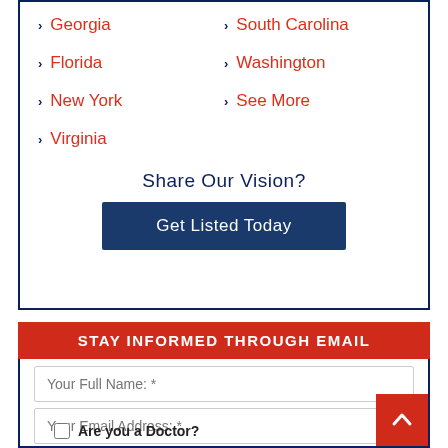Georgia
South Carolina
Florida
Washington
New York
See More
Virginia
Share Our Vision?
Get Listed Today
STAY INFORMED THROUGH EMAIL
Your Full Name: *
Your Email Address: *
Are you a Doctor?